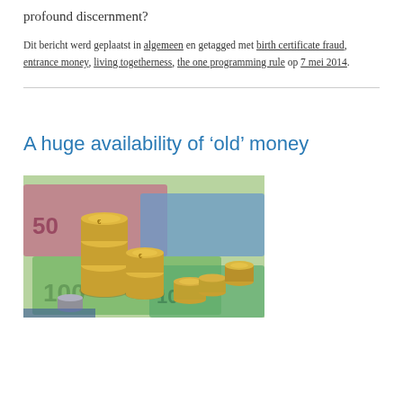profound discernment?
Dit bericht werd geplaatst in algemeen en getagged met birth certificate fraud, entrance money, living togetherness, the one programming rule op 7 mei 2014.
A huge availability of ‘old’ money
[Figure (photo): Photo of Euro coins stacked in piles on top of Euro banknotes (50, 100 denominations visible)]